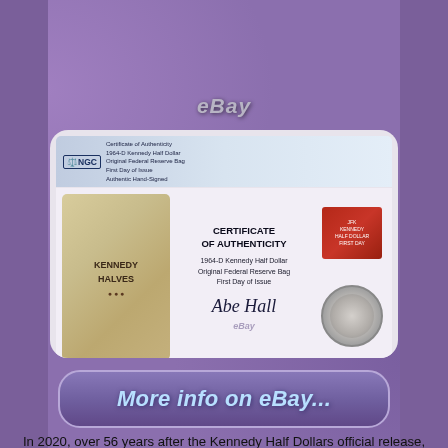[Figure (photo): Top portion of an NGC coin grading slab/case showing an eBay logo and what appears to be a Kennedy Half Dollar coin, partially visible at top of page]
[Figure (photo): NGC Certificate of Authenticity slab containing a canvas bag labeled 'KENNEDY HALVES', a Certificate of Authenticity document for a 1964-D Kennedy Half Dollar Original Federal Reserve Bag First Day of Issue, with a signature, and a graded Kennedy Half Dollar coin with a postage stamp featuring JFK]
[Figure (other): Button/banner reading 'More info on eBay...' in light blue italic text on a rounded purple background]
In 2020, over 56 years after the Kennedy Half Dollars official release, Rare Collectibles TV acquired a government sealed canvas bag with American Trust Company stamped on its face. Stapled to the bag was a tag indicating Federal Reserve Bank of San Francisco and Kennedy Halves, Mar 19, 1964. With the Kennedy Half Dollar released to the public on March 24, 1964, it was apparent that the coins in this bag were among the first Kennedy Half Dollars ever struck. After being submitted